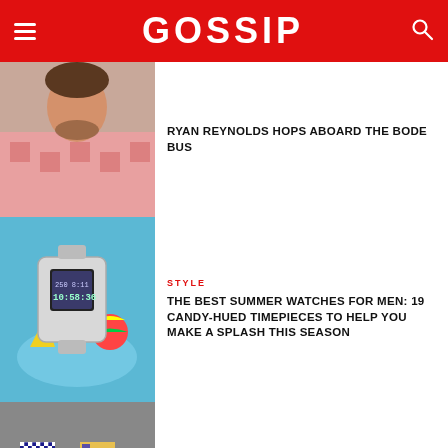GOSSIP
[Figure (photo): Photo of Ryan Reynolds in a pink patterned shirt]
RYAN REYNOLDS HOPS ABOARD THE BODE BUS
[Figure (photo): Photo of a Casio digital watch near a swimming pool with a beach ball]
STYLE
THE BEST SUMMER WATCHES FOR MEN: 19 CANDY-HUED TIMEPIECES TO HELP YOU MAKE A SPLASH THIS SEASON
[Figure (photo): Photo of two people in patterned/checkered colorful outfits at a fashion show]
STYLE
ISSEY MIYAKE'S MENSWEAR REVOLUTION WAS PLEATED